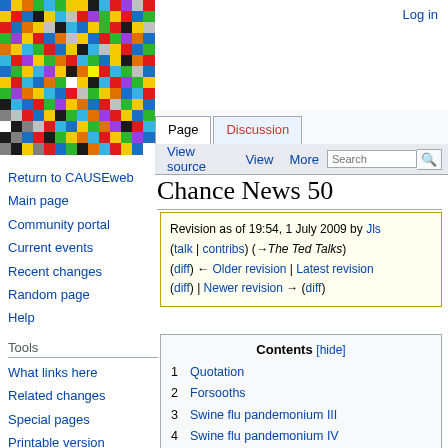Log in
[Figure (illustration): Wikipedia-style colorful pixel mosaic logo]
Page | Discussion | View source | View | More | Search
Chance News 50
Revision as of 19:54, 1 July 2009 by Jls (talk | contribs) (→The Ted Talks) (diff) ← Older revision | Latest revision (diff) | Newer revision → (diff)
Navigation
Return to CAUSEweb
Main page
Community portal
Current events
Recent changes
Random page
Help
Tools
What links here
Related changes
Special pages
Printable version
Permanent link
| Contents [hide] |
| --- |
| 1 Quotation |
| 2 Forsooths |
| 3 Swine flu pandemonium III |
| 4 Swine flu pandemonium IV |
| 5 Role of luck in golf |
| 6 Baseball: More education, more victories? |
| 7 Keeping up with the Joneses by |